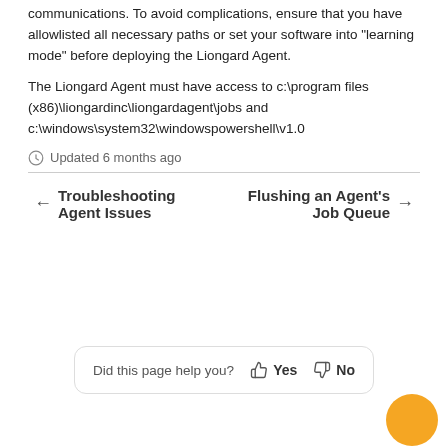communications. To avoid complications, ensure that you have allowlisted all necessary paths or set your software into "learning mode" before deploying the Liongard Agent.
The Liongard Agent must have access to c:\program files (x86)\liongardinc\liongardagent\jobs and c:\windows\system32\windowspowershell\v1.0
Updated 6 months ago
← Troubleshooting Agent Issues
Flushing an Agent's Job Queue →
Did this page help you?  Yes  No